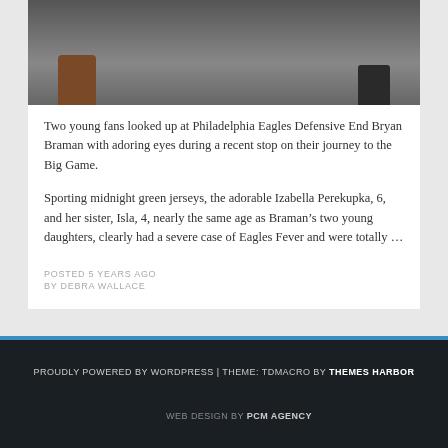[Figure (photo): Photo of boots/shoes from above on a grey surface — two brown boots on the left and dark shoes on the right, viewed from above]
Two young fans looked up at Philadelphia Eagles Defensive End Bryan Braman with adoring eyes during a recent stop on their journey to the Big Game.
Sporting midnight green jerseys, the adorable Izabella Perekupka, 6, and her sister, Isla, 4, nearly the same age as Braman’s two young daughters, clearly had a severe case of Eagles Fever and were totally …
POSTED 5 YEARS AGO
BY DEBRA WALLACE
PROUDLY POWERED BY WORDPRESS | THEME: TDMACRO BY THEMES HARBOR
WEB DESIGN BY PCM AGENCY